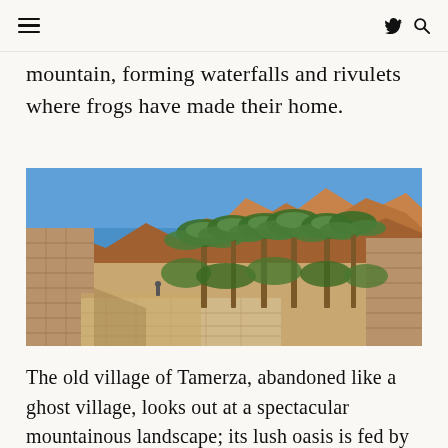≡  🐦 🔍
mountain, forming waterfalls and rivulets where frogs have made their home.
[Figure (photo): Panoramic view of Tamerza oasis: a stone pathway between old mud-brick walls on the left and lush palm trees on the right, with rocky orange mountains under a clear blue sky in the background.]
The old village of Tamerza, abandoned like a ghost village, looks out at a spectacular mountainous landscape; its lush oasis is fed by a towering waterfall.